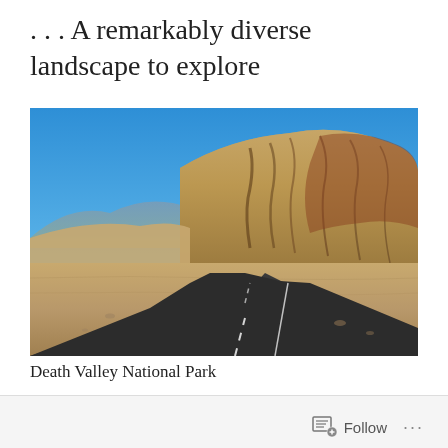. . . A remarkably diverse landscape to explore
[Figure (photo): Desert road in Death Valley National Park with barren hills and mountains in the background under a blue sky]
Death Valley National Park
Follow